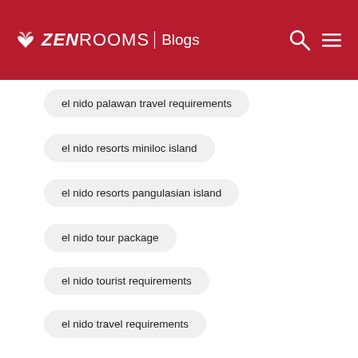ZEN ROOMS | Blogs
el nido palawan travel requirements
el nido resorts miniloc island
el nido resorts pangulasian island
el nido tour package
el nido tourist requirements
el nido travel requirements
el nido travel requirements 2021
el puerto marina lingayen
el rico suites
electric bike philippines
elnido